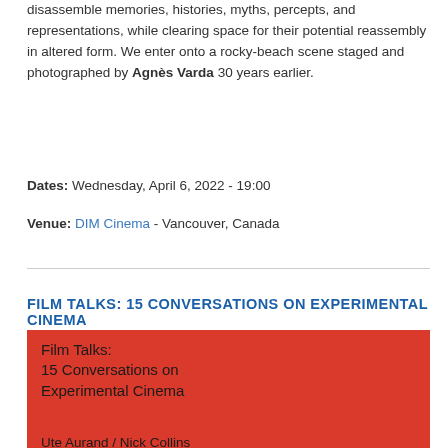disassemble memories, histories, myths, percepts, and representations, while clearing space for their potential reassembly in altered form. We enter onto a rocky-beach scene staged and photographed by Agnès Varda 30 years earlier.
Dates: Wednesday, April 6, 2022 - 19:00
Venue: DIM Cinema - Vancouver, Canada
FILM TALKS: 15 CONVERSATIONS ON EXPERIMENTAL CINEMA
[Figure (photo): Red poster for 'Film Talks: 15 Conversations on Experimental Cinema' showing the title text and names: Ute Aurand / Nick Collins, Jenny Baines / Bea Haut, Amy Dickson / Annabel Nicolson, and a partially visible fourth line]